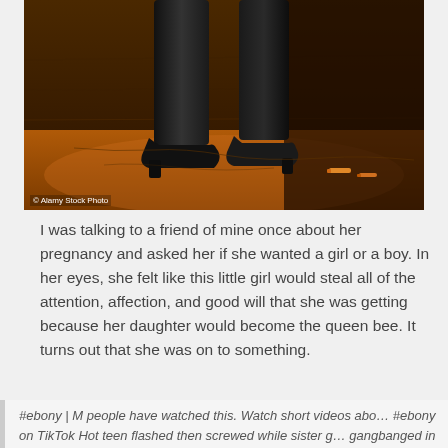[Figure (photo): Dark photo showing lower legs and feet wearing black high-heeled boots standing on a cracked concrete/pavement surface at night under orange lighting, with cigarette butts on the ground nearby and a wall in the background.]
© Alamy Stock Photo
I was talking to a friend of mine once about her pregnancy and asked her if she wanted a girl or a boy. In her eyes, she felt like this little girl would steal all of the attention, affection, and good will that she was getting because her daughter would become the queen bee. It turns out that she was on to something.
#ebony | M people have watched this. Watch short videos about #ebony on TikTok Hot teen flashed then screwed while sister gangbanged in the back. Daniel Ramirez. 4 years ago. I wasnt r